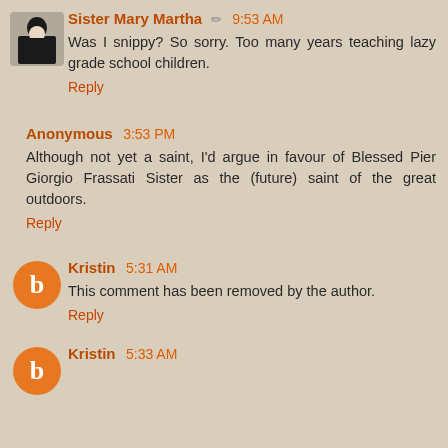Sister Mary Martha  9:53 AM
Was I snippy? So sorry. Too many years teaching lazy grade school children.
Reply
Anonymous  3:53 PM
Although not yet a saint, I'd argue in favour of Blessed Pier Giorgio Frassati Sister as the (future) saint of the great outdoors.
Reply
Kristin  5:31 AM
This comment has been removed by the author.
Reply
Kristin  5:33 AM